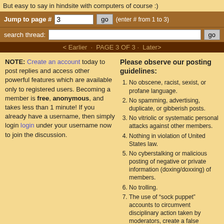But easy to say in hindsite with computers of course :)
Jump to page # 3 go (enter # from 1 to 3)
search thread: go
< Earlier · PAGE 3 OF 3 · Later>
NOTE: Create an account today to post replies and access other powerful features which are available only to registered users. Becoming a member is free, anonymous, and takes less than 1 minute! If you already have a username, then simply login login under your username now to join the discussion.
Please observe our posting guidelines:
No obscene, racist, sexist, or profane language.
No spamming, advertising, duplicate, or gibberish posts.
No vitriolic or systematic personal attacks against other members.
Nothing in violation of United States law.
No cyberstalking or malicious posting of negative or private information (doxing/doxxing) of members.
No trolling.
The use of "sock puppet" accounts to circumvent disciplinary action taken by moderators, create a false impression of consensus or support, or stage conversations, is prohibited.
Do not degrade Chessgames or any of it's staff/volunteers.
Please try to maintain a semblance of civility at all times.